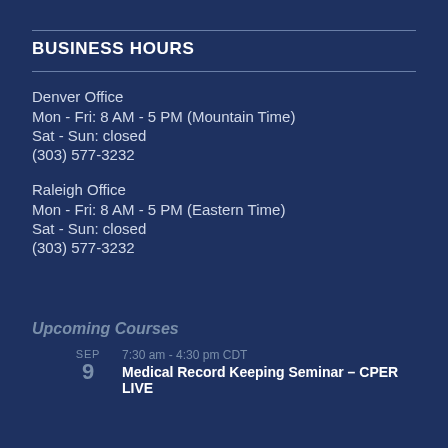BUSINESS HOURS
Denver Office
Mon - Fri: 8 AM - 5 PM (Mountain Time)
Sat - Sun: closed
(303) 577-3232
Raleigh Office
Mon - Fri: 8 AM - 5 PM (Eastern Time)
Sat - Sun: closed
(303) 577-3232
Upcoming Courses
SEP
9
7:30 am - 4:30 pm CDT
Medical Record Keeping Seminar – CPER LIVE